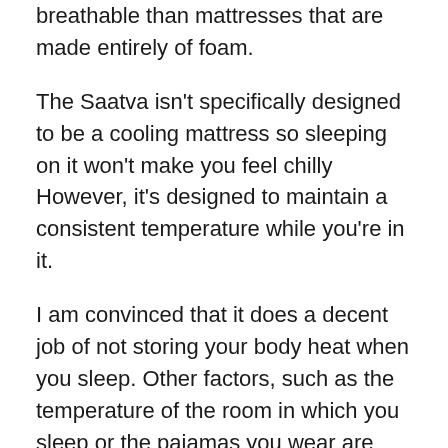breathable than mattresses that are made entirely of foam.
The Saatva isn't specifically designed to be a cooling mattress so sleeping on it won't make you feel chilly However, it's designed to maintain a consistent temperature while you're in it.
I am convinced that it does a decent job of not storing your body heat when you sleep. Other factors, such as the temperature of the room in which you sleep or the pajamas you wear are likely to have a significant role in the degree to which you are hot while sleeping.